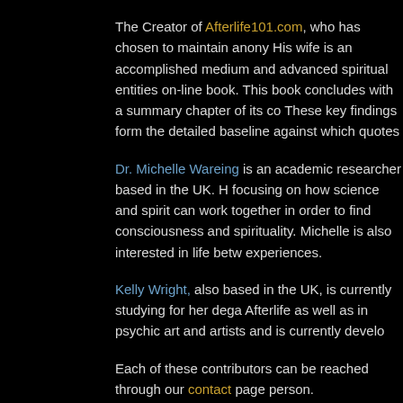The Creator of Afterlife101.com, who has chosen to maintain anony... His wife is an accomplished medium and advanced spiritual entities... on-line book. This book concludes with a summary chapter of its co... These key findings form the detailed baseline against which quotes...
Dr. Michelle Wareing is an academic researcher based in the UK. H... focusing on how science and spirit can work together in order to find... consciousness and spirituality. Michelle is also interested in life betw... experiences.
Kelly Wright, also based in the UK, is currently studying for her dega... Afterlife as well as in psychic art and artists and is currently develo...
Each of these contributors can be reached through our contact page... person.